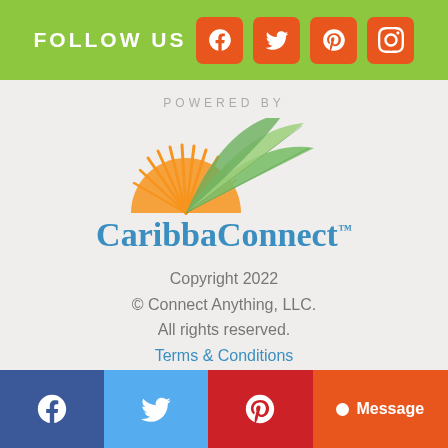FOLLOW US
[Figure (logo): CaribbaConnect logo with palm leaves and sun graphic above stylized blue CaribbaConnect text]
POWERED BY
Copyright 2022
© Connect Anything, LLC.
All rights reserved.
Terms & Conditions
Facebook | Twitter | Pinterest | Message